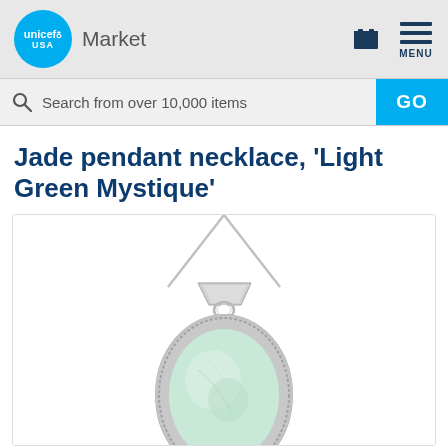[Figure (logo): UNICEF USA Market website header with UNICEF USA blue circle logo, 'Market' text, cart icon, and hamburger menu with MENU label]
Search from over 10,000 items
Jade pendant necklace, 'Light Green Mystique'
[Figure (photo): Product photo of a jade pendant necklace with a silver setting and light green oval jade stone on a silver chain, photographed on white background]